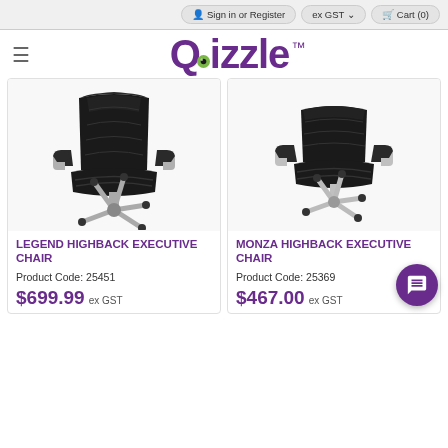Sign in or Register | ex GST | Cart (0)
Qizzle™
[Figure (photo): Black leather highback executive office chair with chrome base and armrests]
LEGEND HIGHBACK EXECUTIVE CHAIR
Product Code: 25451
$699.99 ex GST
[Figure (photo): Black leather highback executive office chair with chrome base and armrests, lower profile]
MONZA HIGHBACK EXECUTIVE CHAIR
Product Code: 25369
$467.00 ex GST